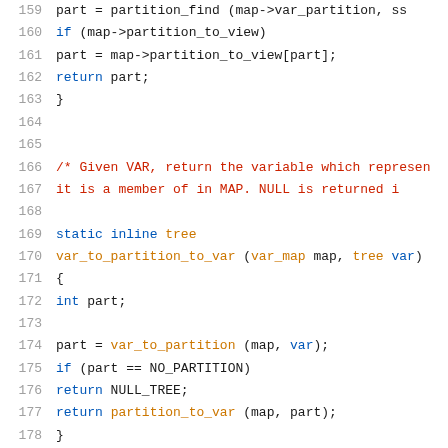[Figure (screenshot): Source code listing in a monospace font showing C/C++ code lines 159–180, with syntax highlighting: line numbers in gray, keywords in blue, comments in red, identifiers/functions in orange.]